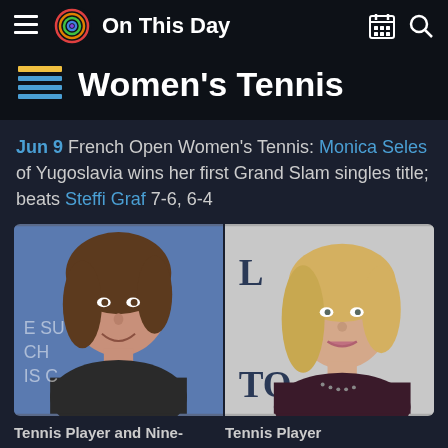On This Day
Women's Tennis
Jun 9 French Open Women's Tennis: Monica Seles of Yugoslavia wins her first Grand Slam singles title; beats Steffi Graf 7-6, 6-4
[Figure (photo): Side-by-side photos of Monica Seles (left, young tennis player) and Steffi Graf (right, blonde tennis player at an event)]
Tennis Player and Nine-   Tennis Player